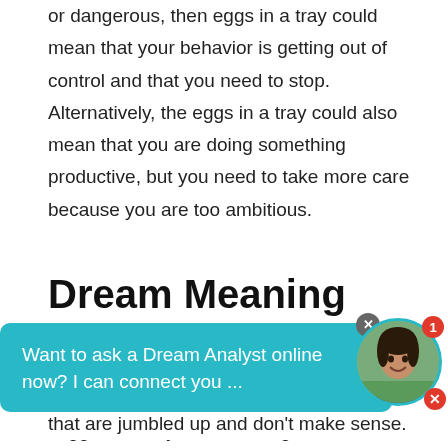or dangerous, then eggs in a tray could mean that your behavior is getting out of control and that you need to stop. Alternatively, the eggs in a tray could also mean that you are doing something productive, but you need to take more care because you are too ambitious.
Dream Meaning Scrambled Eggs
When you dream of scrambled eggs, it suggests that you are feeling overwhelmed or confused. The eggs... that are jumbled up and don't make sense.
[Figure (screenshot): Chat widget overlay with teal background showing text 'Want to ask a Dream Analyst online now? I can connect you ...' with a close button and a circular avatar photo of a woman with a red notification badge showing '1' and a red X close button.]